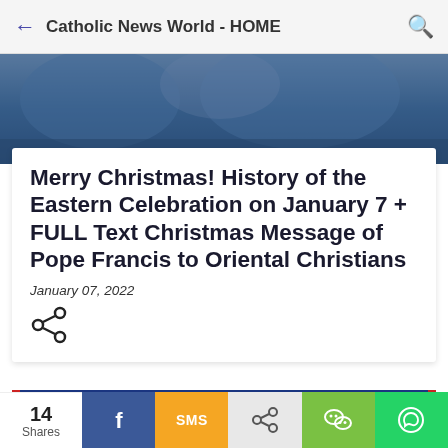Catholic News World - HOME
[Figure (photo): Blurred blue hero image background at the top of the article page]
Merry Christmas! History of the Eastern Celebration on January 7 + FULL Text Christmas Message of Pope Francis to Oriental Christians
January 07, 2022
[Figure (illustration): Byzantine-style nativity icon with angels and star of Bethlehem, dark blue background with red border]
14 Shares — social share buttons: Facebook, SMS, Share, WeChat, WhatsApp